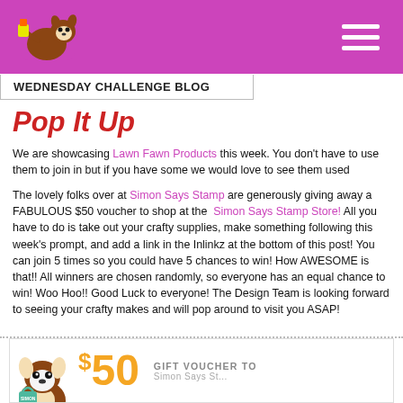WEDNESDAY CHALLENGE BLOG
Pop It Up
We are showcasing Lawn Fawn Products this week. You don't have to use them to join in but if you have some we would love to see them used
The lovely folks over at Simon Says Stamp are generously giving away a FABULOUS $50 voucher to shop at the Simon Says Stamp Store! All you have to do is take out your crafty supplies, make something following this week's prompt, and add a link in the Inlinkz at the bottom of this post! You can join 5 times so you could have 5 chances to win! How AWESOME is that!! All winners are chosen randomly, so everyone has an equal chance to win! Woo Hoo!! Good Luck to everyone! The Design Team is looking forward to seeing your crafty makes and will pop around to visit you ASAP!
[Figure (illustration): Gift voucher banner with cartoon dog and $50 text, Simon Says Stamp gift voucher]